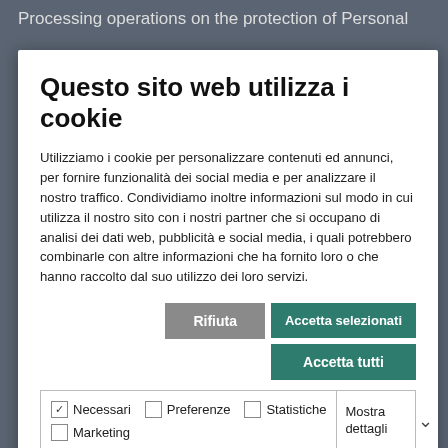Processing operations on the protection of Personal
Questo sito web utilizza i cookie
Utilizziamo i cookie per personalizzare contenuti ed annunci, per fornire funzionalità dei social media e per analizzare il nostro traffico. Condividiamo inoltre informazioni sul modo in cui utilizza il nostro sito con i nostri partner che si occupano di analisi dei dati web, pubblicità e social media, i quali potrebbero combinarle con altre informazioni che ha fornito loro o che hanno raccolto dal suo utilizzo dei loro servizi.
following conditions apply:
a) The Controller must be able to demonstrate that